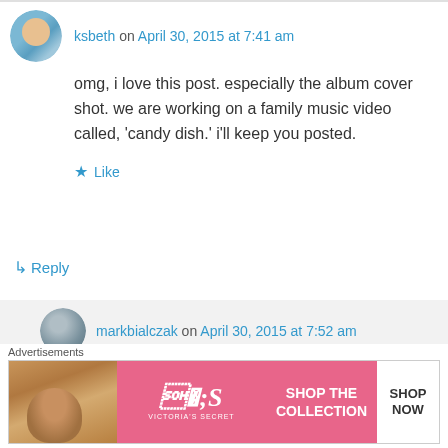ksbeth on April 30, 2015 at 7:41 am
omg, i love this post. especially the album cover shot. we are working on a family music video called, 'candy dish.' i'll keep you posted.
Like
↳ Reply
markbialczak on April 30, 2015 at 7:52 am
Beth, I can't wait for "Candy Dish" to drop. Not on the floor. You know what I mean.
Advertisements
[Figure (other): Victoria's Secret advertisement banner: Shop The Collection - Shop Now button, pink background with model photo]